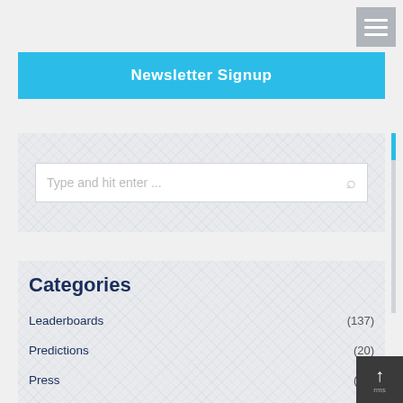Newsletter Signup
Categories
Leaderboards (137)
Predictions (20)
Press (18)
Thought Leader Interviews (72)